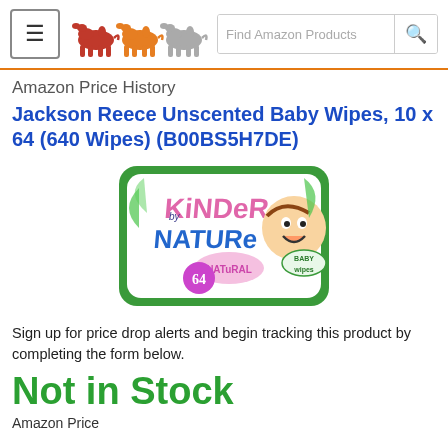≡ [camel logo] Find Amazon Products 🔍
Amazon Price History
Jackson Reece Unscented Baby Wipes, 10 x 64 (640 Wipes) (B00BS5H7DE)
[Figure (photo): Product image of Jackson Reece Kinder by Nature baby wipes pack, green packaging with cartoon baby face, shows 64 wipes]
Sign up for price drop alerts and begin tracking this product by completing the form below.
Not in Stock
Amazon Price